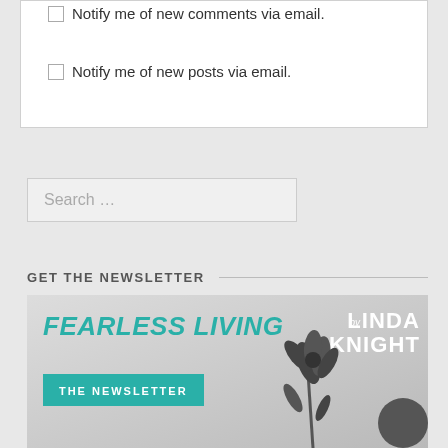Notify me of new comments via email.
Notify me of new posts via email.
Search ...
GET THE NEWSLETTER
[Figure (illustration): Fearless Living by Linda Knight newsletter promotional image with teal text and flower silhouette on grey background]